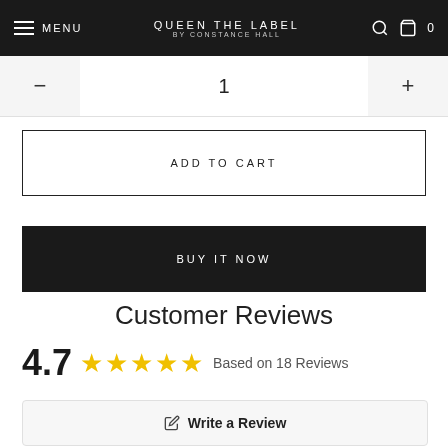MENU | QUEEN THE LABEL BY CONSTANCE HALL | 0
1
ADD TO CART
BUY IT NOW
Customer Reviews
4.7 ★★★★★ Based on 18 Reviews
✎ Write a Review